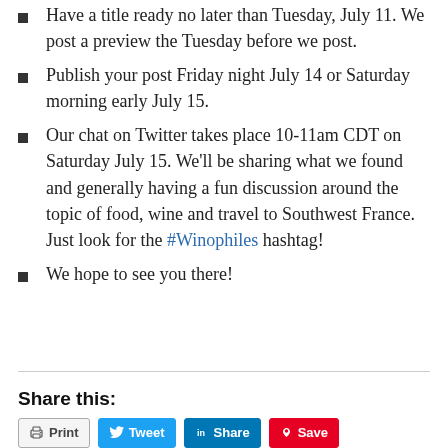Have a title ready no later than Tuesday, July 11. We post a preview the Tuesday before we post.
Publish your post Friday night July 14 or Saturday morning early July 15.
Our chat on Twitter takes place 10-11am CDT on Saturday July 15. We'll be sharing what we found and generally having a fun discussion around the topic of food, wine and travel to Southwest France. Just look for the #Winophiles hashtag!
We hope to see you there!
Share this:
Print | Tweet | Share | Save